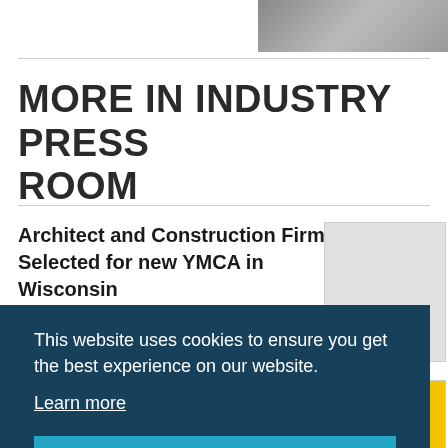[Figure (photo): Partial photo visible in the top-right corner of the page]
MORE IN INDUSTRY PRESS ROOM
Architect and Construction Firms Selected for new YMCA in Wisconsin
[Figure (logo): Kahler Slater logo thumbnail]
[Figure (logo): Yellow circular logo thumbnail with text 'from the Core']
This website uses cookies to ensure you get the best experience on our website.
Learn more
Got it!